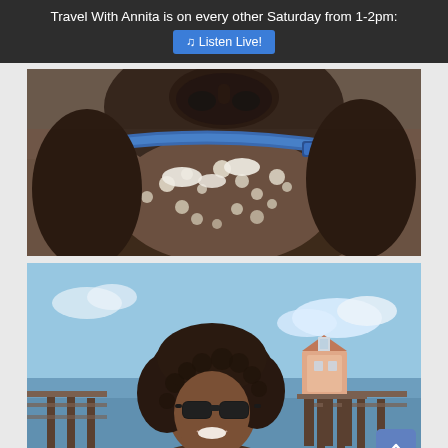Travel With Annita is on every other Saturday from 1-2pm: 🎵 Listen Live!
[Figure (photo): Close-up photo of a dark brown dog (Labrador or similar breed) holding a large speckled rock or ball dusted with snow in its mouth, wearing a blue collar. Shot from below looking up, blurred background.]
[Figure (photo): A woman with curly dark hair wearing sunglasses smiling at the camera, standing at a waterfront dock. Behind her is a small historic lighthouse on a pier with blue sky and scattered clouds. A scroll-to-top button is visible in the bottom right corner.]